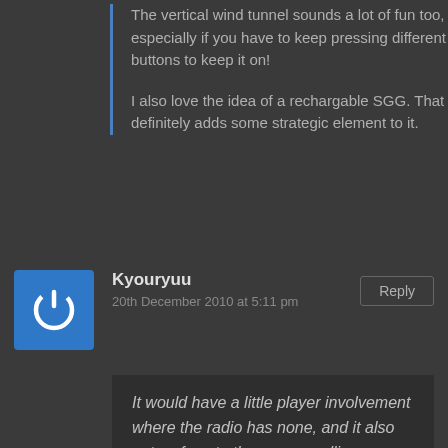The vertical wind tunnel sounds a lot of fun too, especially if you have to keep pressing different buttons to keep it on!
I also love the idea of a rechargable SGG. That definitely adds some strategic element to it.
Kyouryuu
20th December 2010 at 5:11 pm
Reply
It would have a little player involvement where the radio has none, and it also puts a face to the person calling (whereas the